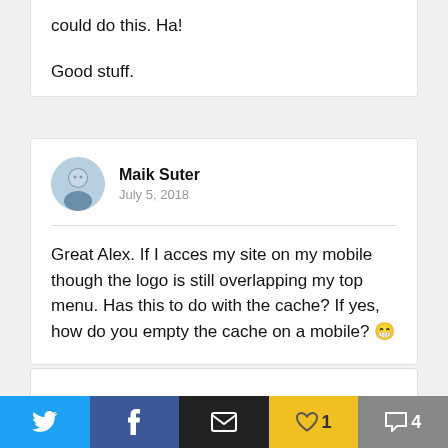could do this. Ha!

Good stuff.
Maik Suter
July 5, 2018
Great Alex. If I acces my site on my mobile though the logo is still overlapping my top menu. Has this to do with the cache? If yes, how do you empty the cache on a mobile? 😁